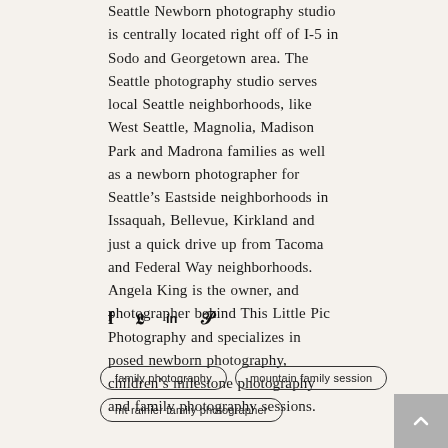Seattle Newborn photography studio is centrally located right off of I-5 in Sodo and Georgetown area. The Seattle photography studio serves local Seattle neighborhoods, like West Seattle, Magnolia, Madison Park and Madrona families as well as a newborn photographer for Seattle's Eastside neighborhoods in Issaquah, Bellevue, Kirkland and just a quick drive up from Tacoma and Federal Way neighborhoods. Angela King is the owner, and photographer behind This Little Pic Photography and specializes in posed newborn photography, children's milestone photography and family photography sessions.
[Figure (other): Social media share icons: Facebook (f), Twitter (bird), LinkedIn (in), Pinterest (P)]
family photography
mountain family session
mt rainier family photographer